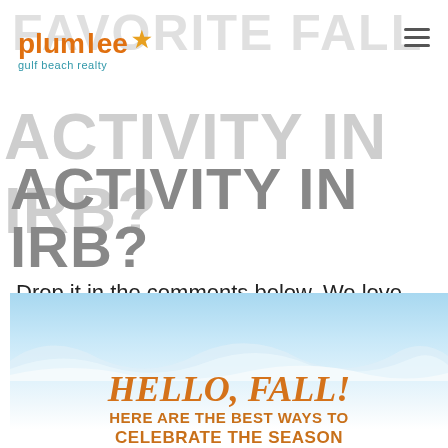Plumlee Gulf Beach Realty
FAVORITE FALL ACTIVITY IN IRB?
Drop it in the comments below. We love hearing from you!
BOOK MY FALL BEACH ESCAPE NOW!
[Figure (illustration): Hello Fall beach promotional graphic with blue sky and wave, text reads: HELLO, FALL! HERE ARE THE BEST WAYS TO CELEBRATE THE SEASON]